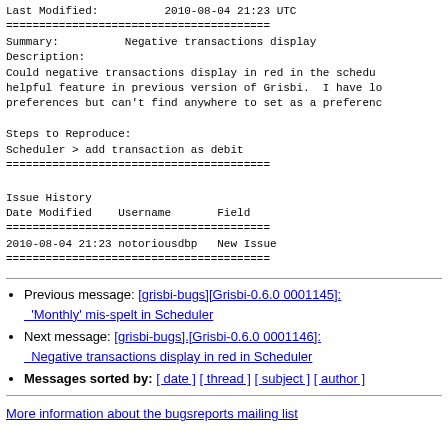Last Modified:          2010-08-04 21:23 UTC
========================================
Summary:          Negative transactions display
Description:
Could negative transactions display in red in the schedu
helpful feature in previous version of Grisbi.  I have lo
preferences but can't find anywhere to set as a preferenc

Steps to Reproduce:
Scheduler > add transaction as debit
========================================
| Date Modified | Username | Field |
| --- | --- | --- |
| 2010-08-04 21:23 | notoriousdbp | New Issue |
Previous message: [grisbi-bugs][Grisbi-0.6.0 0001145]: 'Monthly' mis-spelt in Scheduler
Next message: [grisbi-bugs].[Grisbi-0.6.0 0001146]: Negative transactions display in red in Scheduler
Messages sorted by: [ date ] [ thread ] [ subject ] [ author ]
More information about the bugsreports mailing list